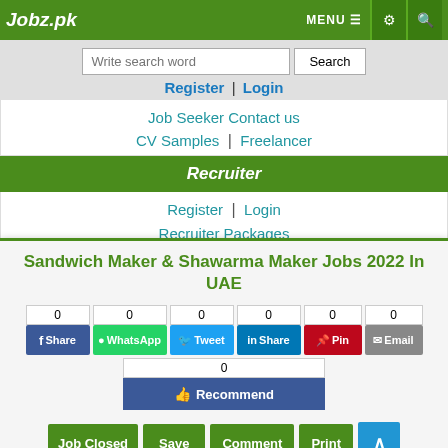Jobz.pk | MENU | settings | search
Write search word | Search
Register | Login
Job Seeker Contact us
CV Samples | Freelancer
Recruiter
Register | Login
Recruiter Packages
Recruiter Contact us
Miscellaneous
Sandwich Maker & Shawarma Maker Jobs 2022 In UAE
0 Share | 0 WhatsApp | 0 Tweet | 0 Share | 0 Pin | 0 Email | 0 Recommend
Job Closed | Save | Comment | Print | ^